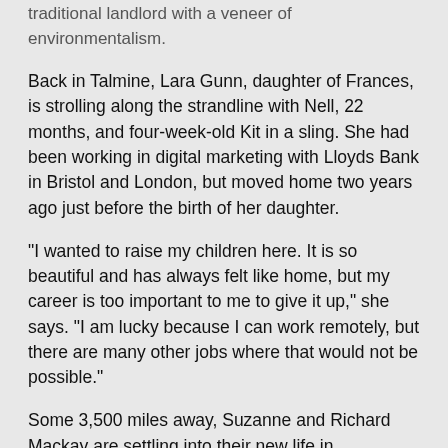traditional landlord with a veneer of environmentalism.
Back in Talmine, Lara Gunn, daughter of Frances, is strolling along the strandline with Nell, 22 months, and four-week-old Kit in a sling. She had been working in digital marketing with Lloyds Bank in Bristol and London, but moved home two years ago just before the birth of her daughter.
“I wanted to raise my children here. It is so beautiful and has always felt like home, but my career is too important to me to give it up,” she says. “I am lucky because I can work remotely, but there are many other jobs where that would not be possible.”
Some 3,500 miles away, Suzanne and Richard Mackay are settling into their new life in Petawawa, southern Ontario. “We miss home especially since the pandemic has prevented us from visiting,” Suzanne says on a Zoom call. “But, because there weren’t many young families, we had to